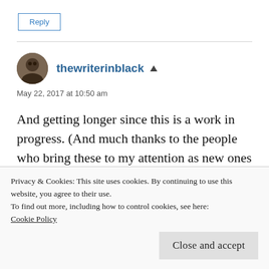Reply
thewriterinblack
May 22, 2017 at 10:50 am
And getting longer since this is a work in progress. (And much thanks to the people who bring these to my attention as new ones pop up.)
Privacy & Cookies: This site uses cookies. By continuing to use this website, you agree to their use.
To find out more, including how to control cookies, see here: Cookie Policy
Close and accept